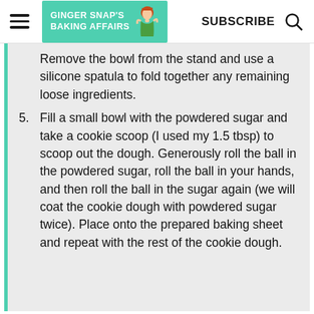GINGER SNAP'S BAKING AFFAIRS | SUBSCRIBE
Remove the bowl from the stand and use a silicone spatula to fold together any remaining loose ingredients.
5. Fill a small bowl with the powdered sugar and take a cookie scoop (I used my 1.5 tbsp) to scoop out the dough. Generously roll the ball in the powdered sugar, roll the ball in your hands, and then roll the ball in the sugar again (we will coat the cookie dough with powdered sugar twice). Place onto the prepared baking sheet and repeat with the rest of the cookie dough.